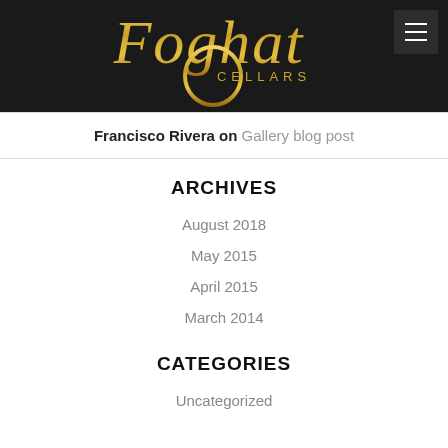[Figure (logo): Foghat Cellars logo with golden script lettering on dark background, with hamburger menu icon in top right]
Francisco Rivera on Gallery blog post
ARCHIVES
August 2018
May 2015
April 2015
March 2014
CATEGORIES
Uncategorized